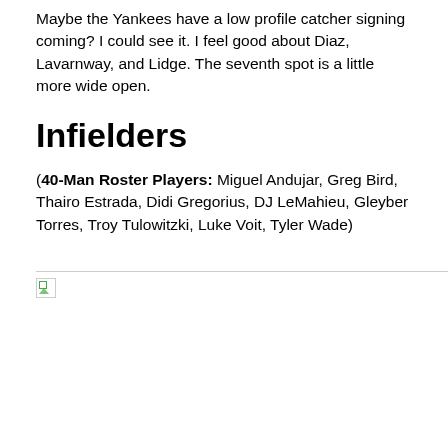Maybe the Yankees have a low profile catcher signing coming? I could see it. I feel good about Diaz, Lavarnway, and Lidge. The seventh spot is a little more wide open.
Infielders
(40-Man Roster Players: Miguel Andujar, Greg Bird, Thairo Estrada, Didi Gregorius, DJ LeMahieu, Gleyber Torres, Troy Tulowitzki, Luke Voit, Tyler Wade)
[Figure (other): Broken image placeholder with small icon]